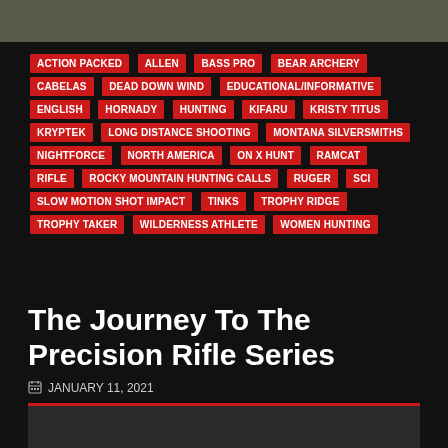[Figure (photo): Top partial image showing outdoor/nature scene with ground and feet visible]
ACTION PACKED
ALLEN
BASS PRO
BEAR ARCHERY
CABELAS
DEAD DOWN WIND
EDUCATIONAL/INFORMATIVE
ENGLISH
HORNADY
HUNTING
KIFARU
KRISTY TITUS
KRYPTEK
LONG DISTANCE SHOOTING
MONTANA SILVERSMITHS
NIGHTFORCE
NORTH AMERICA
ON X HUNT
RAMCAT
RIFLE
ROCKY MOUNTAIN HUNTING CALLS
RUGER
SCI
SLOW MOTION SHOT IMPACT
TINKS
TROPHY RIDGE
TROPHY TAKER
WILDERNESS ATHLETE
WOMEN HUNTING
The Journey To The Precision Rifle Series
JANUARY 11, 2021
When it comes to competitive shooting sports, those that are on top of the game have spent years training, dry firing and sending co...
1.9K
[Figure (photo): Bottom partial image showing dark content area with red top border]